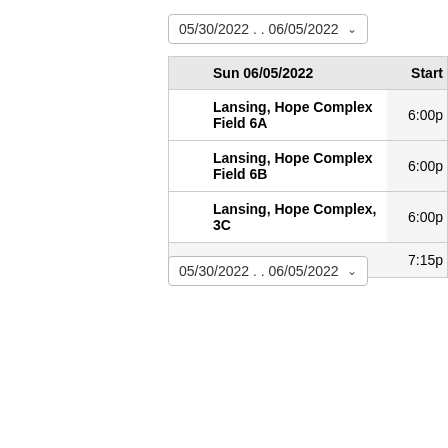05/30/2022 . . 06/05/2022
| Sun 06/05/2022 | Start |
| --- | --- |
| Lansing, Hope Complex Field 6A | 6:00p |
| Lansing, Hope Complex Field 6B | 6:00p |
| Lansing, Hope Complex, 3C | 6:00p |
|  | 7:15p |
05/30/2022 . . 06/05/2022